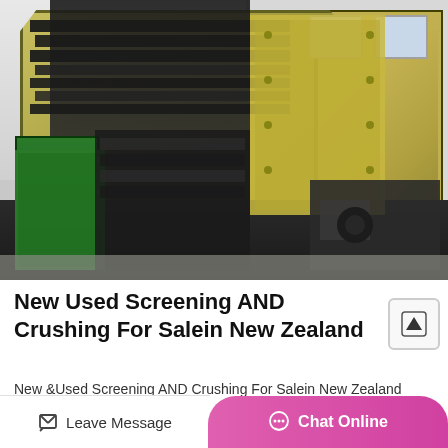[Figure (photo): Industrial screening and crushing machinery stacked outdoors against a warehouse building. Multiple large yellow/black vibrating screen units and a green machine are visible, arranged in a yard with concrete flooring.]
New Used Screening AND Crushing For Salein New Zealand
New &Used Screening AND Crushing For Salein New Zealand Get Alerts Scalpi...